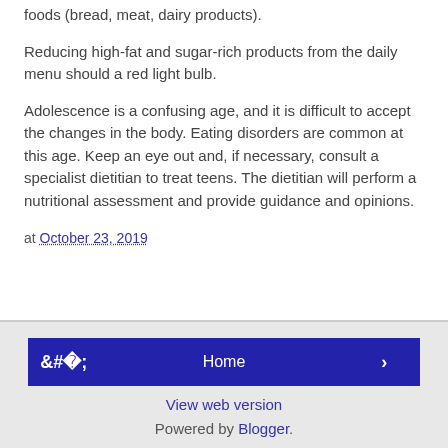foods (bread, meat, dairy products).
Reducing high-fat and sugar-rich products from the daily menu should a red light bulb.
Adolescence is a confusing age, and it is difficult to accept the changes in the body. Eating disorders are common at this age. Keep an eye out and, if necessary, consult a specialist dietitian to treat teens. The dietitian will perform a nutritional assessment and provide guidance and opinions.
at October 23, 2019
Home | View web version | Powered by Blogger.